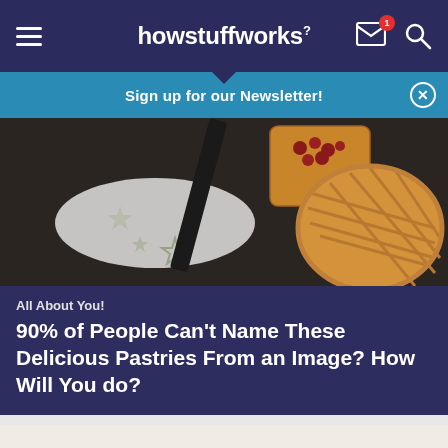howstuffworks
Sign up for our Newsletter!
[Figure (photo): Overhead view of baked pastries dusted with powdered sugar on a dark background, with a lattice pie and berry-topped pastry]
All About You!
90% of People Can't Name These Delicious Pastries From an Image? How Will You do?
[Figure (photo): Row of small fruit tarts topped with raspberries, pomegranate, blueberries, blackberries, and figs viewed from above]